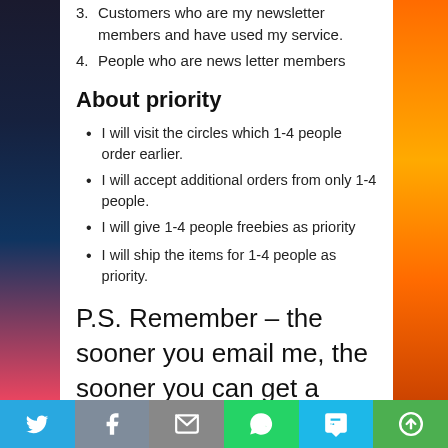3. Customers who are my newsletter members and have used my service.
4. People who are news letter members
About priority
I will visit the circles which 1-4 people order earlier.
I will accept additional orders from only 1-4 people.
I will give 1-4 people freebies as priority
I will ship the items for 1-4 people as priority.
P.S. Remember – the sooner you email me, the sooner you can get a priority !
Please order or request other
[Figure (infographic): Social sharing bar with Twitter, Facebook, Email, WhatsApp, SMS, and More buttons]